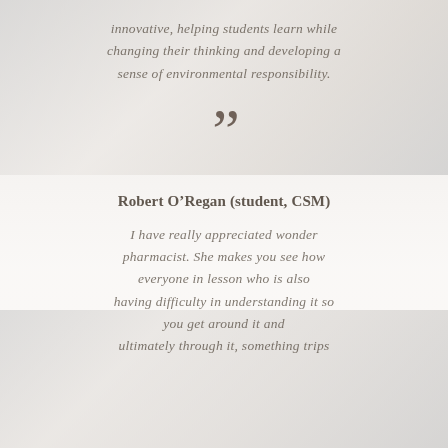innovative, helping students learn while changing their thinking and developing a sense of environmental responsibility.
”
Robert O’Regan (student, CSM)
I have really appreciated wonder pharmacist. She makes you see how everyone in lesson who is also having difficulty in understanding it so you get around it and ultimately through it, something trips